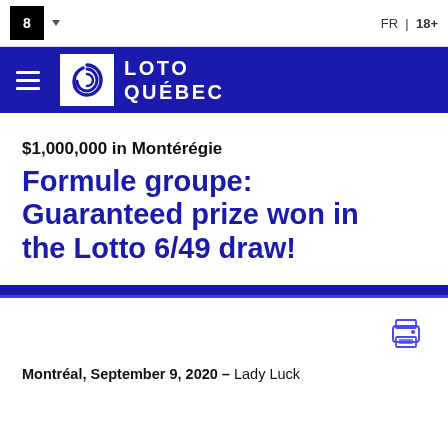FR | 18+
[Figure (logo): Loto-Québec logo and header navigation with hamburger menu]
$1,000,000 in Montérégie
Formule groupe: Guaranteed prize won in the Lotto 6/49 draw!
[Figure (illustration): Print icon button]
Montréal, September 9, 2020 – Lady Luck